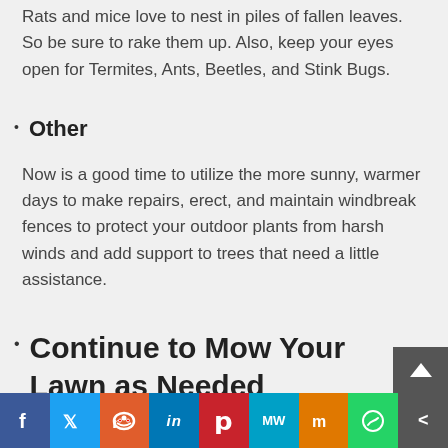Rats and mice love to nest in piles of fallen leaves. So be sure to rake them up. Also, keep your eyes open for Termites, Ants, Beetles, and Stink Bugs.
Other
Now is a good time to utilize the more sunny, warmer days to make repairs, erect, and maintain windbreak fences to protect your outdoor plants from harsh winds and add support to trees that need a little assistance.
Continue to Mow Your Lawn as Needed